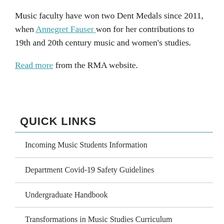Music faculty have won two Dent Medals since 2011, when Annegret Fauser won for her contributions to 19th and 20th century music and women's studies.
Read more from the RMA website.
QUICK LINKS
Incoming Music Students Information
Department Covid-19 Safety Guidelines
Undergraduate Handbook
Transformations in Music Studies Curriculum